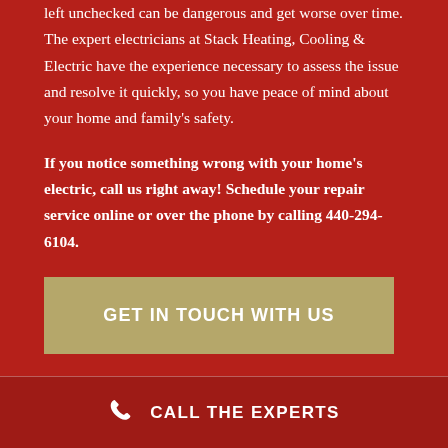left unchecked can be dangerous and get worse over time. The expert electricians at Stack Heating, Cooling & Electric have the experience necessary to assess the issue and resolve it quickly, so you have peace of mind about your home and family's safety.
If you notice something wrong with your home's electric, call us right away! Schedule your repair service online or over the phone by calling 440-294-6104.
GET IN TOUCH WITH US
CALL THE EXPERTS